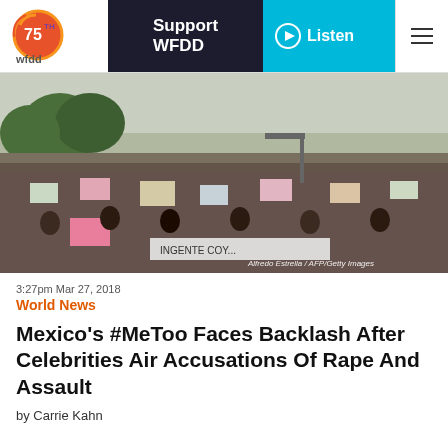WFDD 75th | Support WFDD | Listen
[Figure (photo): Large crowd of protesters marching down a boulevard, many holding signs and banners. Photo credit: Alfredo Estrella / AFP/Getty Images]
3:27pm Mar 27, 2018
World News
Mexico's #MeToo Faces Backlash After Celebrities Air Accusations Of Rape And Assault
by Carrie Kahn